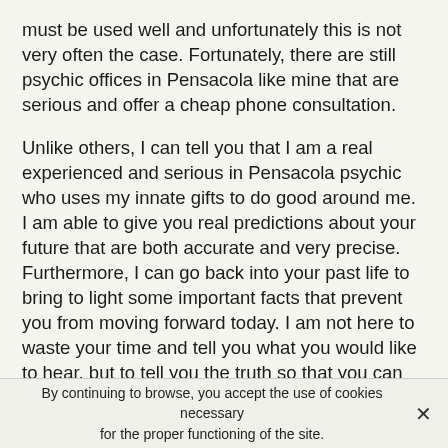must be used well and unfortunately this is not very often the case. Fortunately, there are still psychic offices in Pensacola like mine that are serious and offer a cheap phone consultation.
Unlike others, I can tell you that I am a real experienced and serious in Pensacola psychic who uses my innate gifts to do good around me. I am able to give you real predictions about your future that are both accurate and very precise. Furthermore, I can go back into your past life to bring to light some important facts that prevent you from moving forward today. I am not here to waste your time and tell you what you would like to hear, but to tell you the truth so that you can move forward in your present life. If I only do telephone consultations it is to be able to put my natural gifts at the service of the greatest number of people. For me, psychic is part of my life and it allows me
By continuing to browse, you accept the use of cookies necessary for the proper functioning of the site.